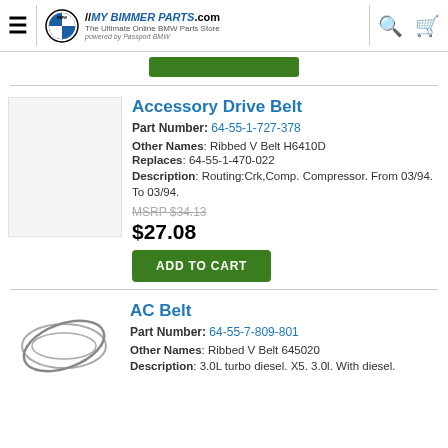MY BIMMER PARTS.com — The Ultimate Online BMW Parts Store — powered by Passport BMW
[Figure (screenshot): Green Add to Cart button (top, partially visible)]
Accessory Drive Belt
Part Number: 64-55-1-727-378
Other Names: Ribbed V Belt H6410D
Replaces: 64-55-1-470-022
Description: Routing:Crk,Comp. Compressor. From 03/94. To 03/94.
MSRP $34.13
$27.08
[Figure (other): Green Add to Cart button]
AC Belt
Part Number: 64-55-7-809-801
Other Names: Ribbed V Belt 645020
Description: 3.0L turbo diesel. X5. 3.0l. With diesel.